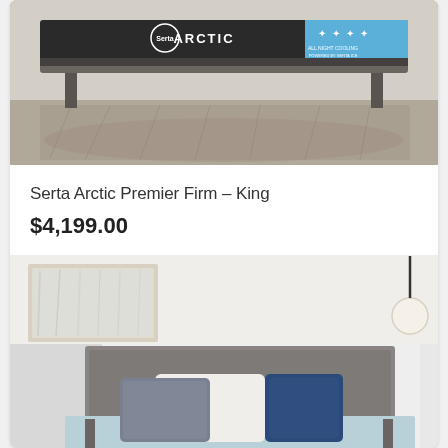[Figure (photo): Serta Arctic mattress on a gray bed frame with dark headboard, shown in a room with patterned rug. Serta Arctic logo and blue cooling badge visible on mattress.]
Serta Arctic Premier Firm – King
$4,199.00
[Figure (photo): Bedroom scene with a gray upholstered headboard, white and blue pillows, marble-look wall paneling, wall art, and a pendant lamp.]